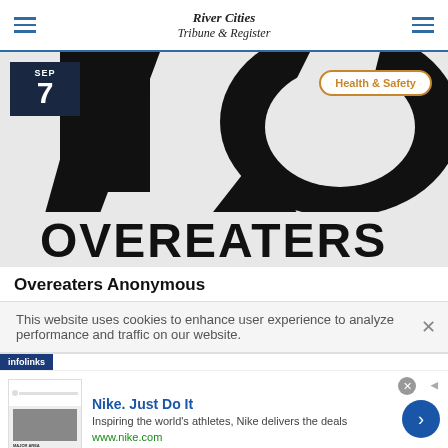River Cities Tribune & Register
[Figure (photo): Close-up photo of Overeaters Anonymous logo/text in black and white, highly cropped showing partial letters]
Overeaters Anonymous
This website uses cookies to enhance user experience to analyze performance and traffic on our website.
[Figure (screenshot): Advertisement: Nike. Just Do It - Inspiring the world's athletes, Nike delivers the deals - www.nike.com]